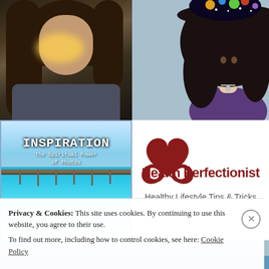[Figure (photo): Selfie photo of a woman in a car, with dark hair and a light flare visible]
[Figure (illustration): Cartoon/illustration of a woman with a large black hat covered in planets and stars, wearing a purple top]
[Figure (photo): Book cover: INSPIRATION - The Spiritual Power of Photos, by Emma Ortega Negrete, showing a tropical beach pier scene]
[Figure (logo): Health Perfectionist logo - red heart/ribbon icon with text 'Health Perfectionist' and tagline 'Healthy Lifestyle Tips & Tricks']
Privacy & Cookies: This site uses cookies. By continuing to use this website, you agree to their use.
To find out more, including how to control cookies, see here: Cookie Policy
Close and accept